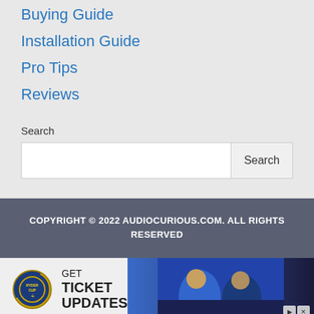Buying Guide
Installation Guide
Pro Tips
Reviews
Search
COPYRIGHT © 2022 AUDIOCURIOUS.COM. ALL RIGHTS RESERVED
[Figure (other): Advertisement banner for Ryder Cup ticket updates, featuring the Ryder Cup logo, text 'GET TICKET UPDATES', and a photo of golfers]